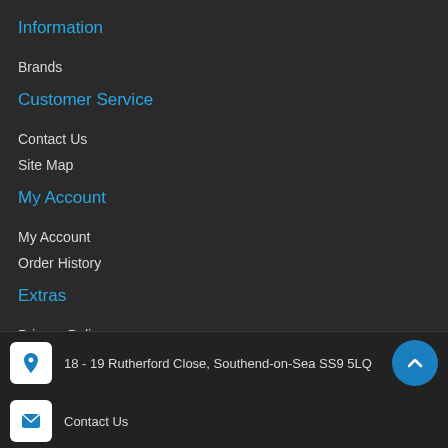Information
Brands
Customer Service
Contact Us
Site Map
My Account
My Account
Order History
Extras
Privacy Policy
Wholesale Eliquid
18 - 19 Rutherford Close, Southend-on-Sea SS9 5LQ
Contact Us